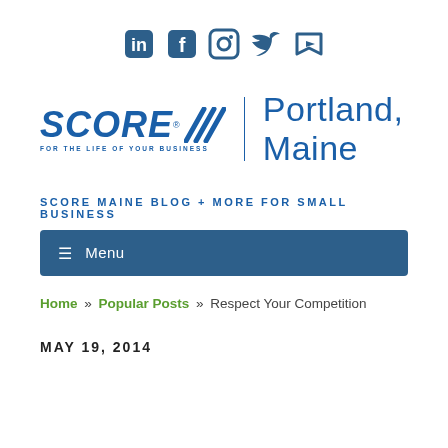[Figure (logo): Social media icons: LinkedIn, Facebook, Instagram, Twitter, YouTube in dark blue]
[Figure (logo): SCORE Portland, Maine logo with tagline FOR THE LIFE OF YOUR BUSINESS]
SCORE MAINE BLOG + MORE FOR SMALL BUSINESS
≡ Menu
Home » Popular Posts » Respect Your Competition
MAY 19, 2014